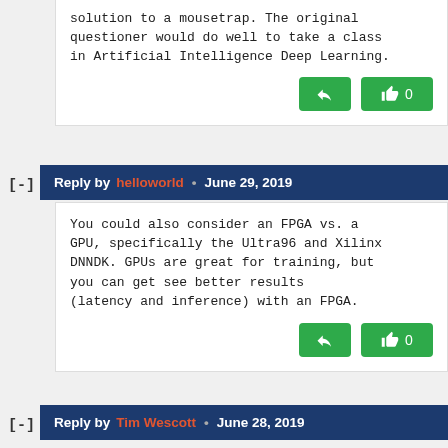solution to a mousetrap. The original questioner would do well to take a class in Artificial Intelligence Deep Learning.
Reply by helloworld • June 29, 2019
You could also consider an FPGA vs. a GPU, specifically the Ultra96 and Xilinx DNNDK. GPUs are great for training, but you can get see better results (latency and inference) with an FPGA.
Reply by Tim Wescott • June 28, 2019